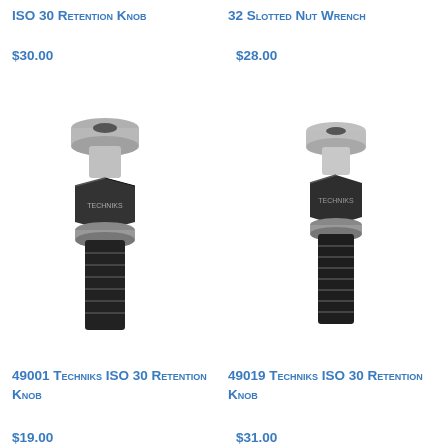ISO 30 Retention Knob
$30.00
32 Slotted Nut Wrench
$28.00
[Figure (photo): 49001 Techniks ISO 30 retention knob — metallic bolt-style component with silver top and black threaded base]
[Figure (photo): 49019 Techniks ISO 30 retention knob — metallic bolt-style component with silver top and black threaded base]
49001 Techniks ISO 30 Retention Knob
$19.00
49019 Techniks ISO 30 Retention Knob
$31.00